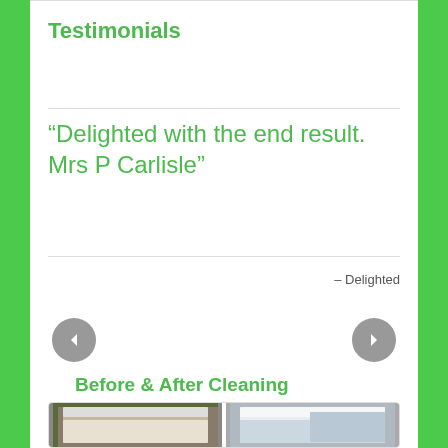Testimonials
“Delighted with the end result. Mrs P Carlisle”
– Delighted
Before & After Cleaning
[Figure (photo): Two side-by-side before and after photos of white uPVC window frames]